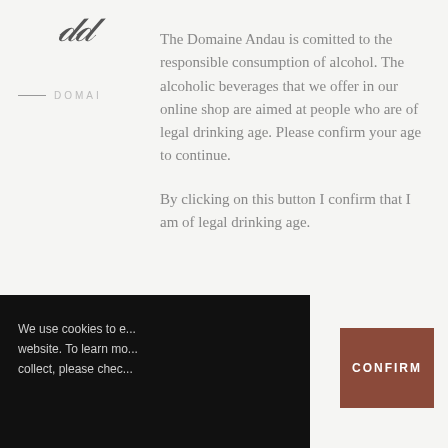[Figure (logo): Cursive italic script logo at top left of page, partially visible]
— DOMAI
The Domaine Andau is comitted to the responsible consumption of alcohol. The alcoholic beverages that we offer in our online shop are aimed at people who are of legal drinking age. Please confirm your age to continue.

By clicking on this button I confirm that I am of legal drinking age.
We use cookies to e... website. To learn mo... collect, please chec...
CONFIRM